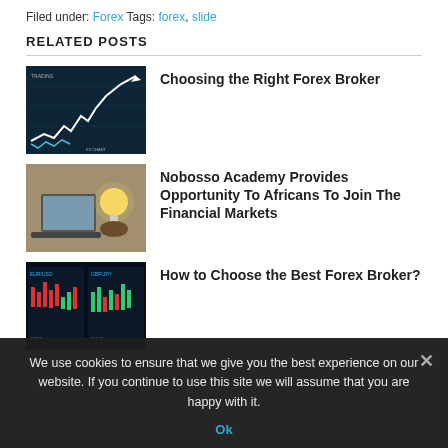Filed under: Forex Tags: forex, slide
RELATED POSTS
[Figure (photo): Stock market chart with upward trending line on dark background with financial data]
Choosing the Right Forex Broker
[Figure (photo): Person holding a glowing lightbulb next to a laptop]
Nobosso Academy Provides Opportunity To Africans To Join The Financial Markets
[Figure (photo): Multiple trading screens showing forex candlestick charts]
How to Choose the Best Forex Broker?
We use cookies to ensure that we give you the best experience on our website. If you continue to use this site we will assume that you are happy with it.
Ok